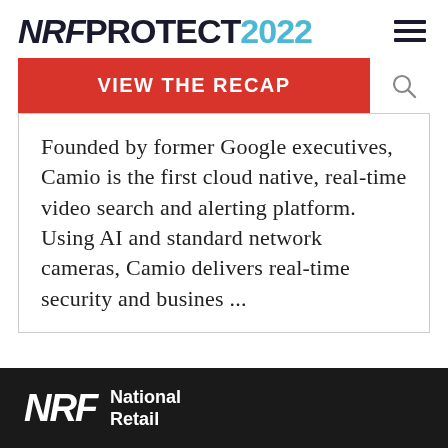NRF PROTECT 2022
VIEW THE RECAP
Founded by former Google executives, Camio is the first cloud native, real-time video search and alerting platform. Using AI and standard network cameras, Camio delivers real-time security and busines ...
[Figure (logo): CNP Card Not Present logo with tagline: News, Education and Events Decoding Digital Payments & Fraud]
In partnership with
NRF National Retail